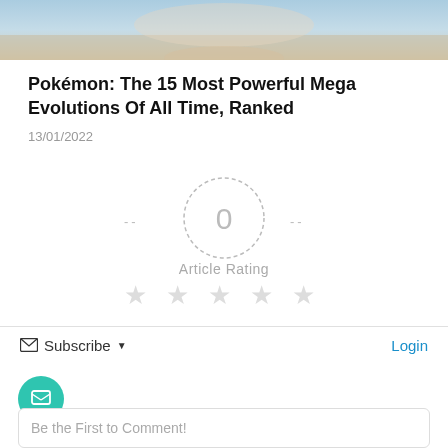[Figure (photo): Cropped photo showing a person near water, only the lower face/neck visible at the top of the page]
Pokémon: The 15 Most Powerful Mega Evolutions Of All Time, Ranked
13/01/2022
[Figure (infographic): Article rating widget: dashed circle with '0' in center, flanked by '--' dashes on each side, label 'Article Rating' below, five empty grey stars below that]
Subscribe ▾
Login
Be the First to Comment!